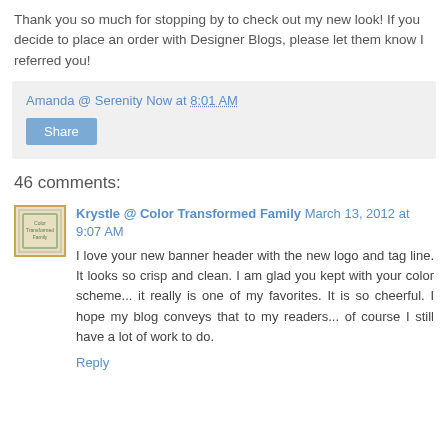Thank you so much for stopping by to check out my new look! If you decide to place an order with Designer Blogs, please let them know I referred you!
Amanda @ Serenity Now at 8:01 AM
Share
46 comments:
Krystle @ Color Transformed Family March 13, 2012 at 9:07 AM
I love your new banner header with the new logo and tag line. It looks so crisp and clean. I am glad you kept with your color scheme... it really is one of my favorites. It is so cheerful. I hope my blog conveys that to my readers... of course I still have a lot of work to do.
Reply